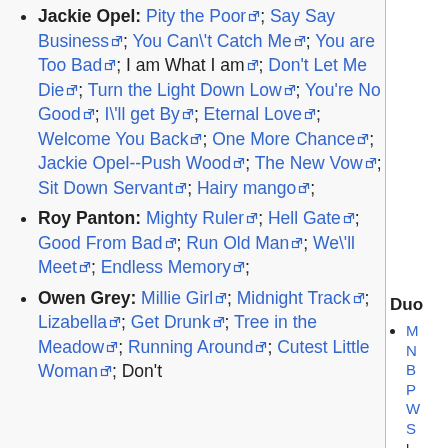Jackie Opel: Pity the Poor; Say Say Business; You Can't Catch Me; You are Too Bad; I am What I am; Don't Let Me Die; Turn the Light Down Low; You're No Good; I'll get By; Eternal Love; Welcome You Back; One More Chance; Jackie Opel--Push Wood; The New Vow; Sit Down Servant; Hairy mango;
Roy Panton: Mighty Ruler; Hell Gate; Good From Bad; Run Old Man; We'll Meet; Endless Memory;
Owen Grey: Millie Girl; Midnight Track; Lizabella; Get Drunk; Tree in the Meadow; Running Around; Cutest Little Woman; Don't Stop Knocking;
Duo
(partial, cut off on right column)